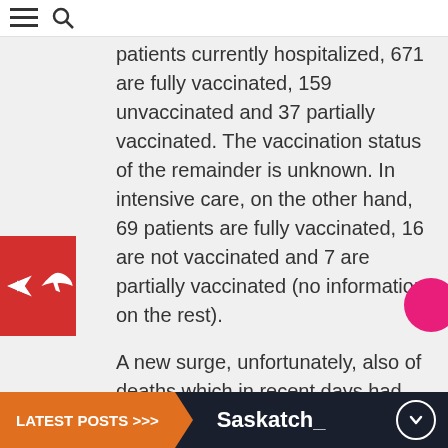≡ 🔍
patients currently hospitalized, 671 are fully vaccinated, 159 unvaccinated and 37 partially vaccinated. The vaccination status of the remainder is unknown. In intensive care, on the other hand, 69 patients are fully vaccinated, 16 are not vaccinated and 7 are partially vaccinated (no information on the rest).
A new surge, unfortunately, also of deaths which in recent days had dropped to almost zero. Today, instead, there were 11, which bring the total in the province, since the beginning of the pandemic, to 13,175.
As for the infections, today 775 new cases
LATEST POSTS >>> Saskatch_